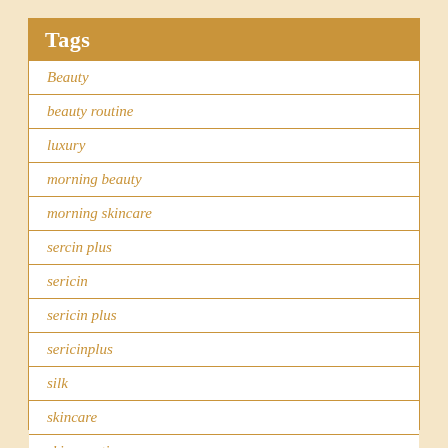Tags
Beauty
beauty routine
luxury
morning beauty
morning skincare
sercin plus
sericin
sericin plus
sericinplus
silk
skincare
skincare tips
time saving tips